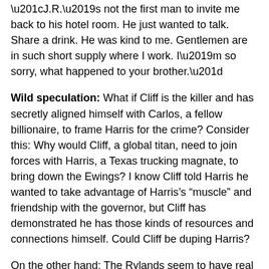“J.R.’s not the first man to invite me back to his hotel room. He just wanted to talk. Share a drink. He was kind to me. Gentlemen are in such short supply where I work. I’m so sorry, what happened to your brother.”
Wild speculation: What if Cliff is the killer and has secretly aligned himself with Carlos, a fellow billionaire, to frame Harris for the crime? Consider this: Why would Cliff, a global titan, need to join forces with Harris, a Texas trucking magnate, to bring down the Ewings? I know Cliff told Harris he wanted to take advantage of Harris’s “muscle” and friendship with the governor, but Cliff has demonstrated he has those kinds of resources and connections himself. Could Cliff be duping Harris?
On the other hand: The Rylands seem to have real connections to the Mexican border. Did you catch the